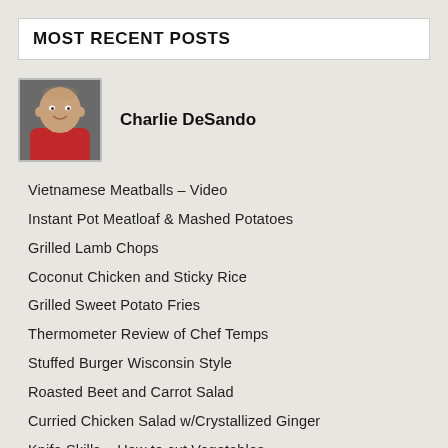MOST RECENT POSTS
[Figure (photo): Headshot photo of Charlie DeSando, a bald man in a red shirt]
Charlie DeSando
Vietnamese Meatballs – Video
Instant Pot Meatloaf & Mashed Potatoes
Grilled Lamb Chops
Coconut Chicken and Sticky Rice
Grilled Sweet Potato Fries
Thermometer Review of Chef Temps
Stuffed Burger Wisconsin Style
Roasted Beet and Carrot Salad
Curried Chicken Salad w/Crystallized Ginger
Knife Skills – How to cut Vegetables